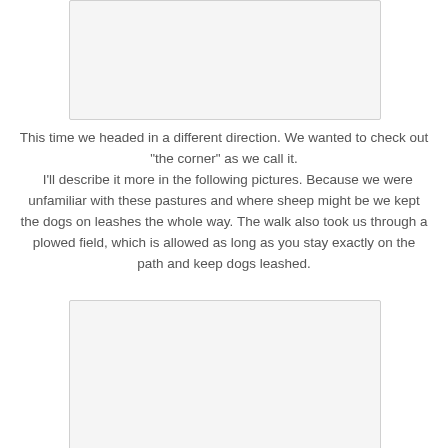[Figure (photo): Blank/white photo placeholder at top of page]
This time we headed in a different direction.  We wanted to check out "the corner" as we call it.
  I'll describe it more in the following pictures.  Because we were unfamiliar with these pastures and where sheep might be we kept the dogs on leashes the whole way.  The walk also took us through a plowed field, which is allowed as long as you stay exactly on the path and keep dogs leashed.
[Figure (photo): Blank/white photo placeholder at bottom of page]